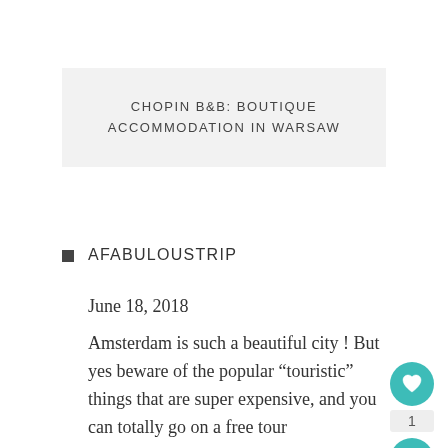CHOPIN B&B: BOUTIQUE ACCOMMODATION IN WARSAW
AFABULOUSTRIP
June 18, 2018
Amsterdam is such a beautiful city ! But yes beware of the popular “touristic” things that are super expensive, and you can totally go on a free tour